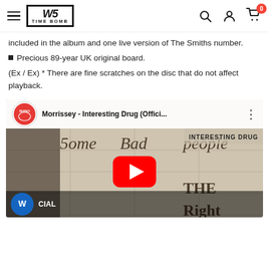Time Bomb Records navigation bar with logo, search, account, and cart icons
included in the album and one live version of The Smiths number.
Precious 89-year UK original board.
(Ex / Ex) * There are fine scratches on the disc that do not affect playback.
[Figure (screenshot): YouTube video thumbnail for Morrissey - Interesting Drug (Official...) showing handwritten text 'Some Bad People... THE RIGHT' with a red YouTube play button, Rhino Records logo, and Warner Music logo at the bottom.]